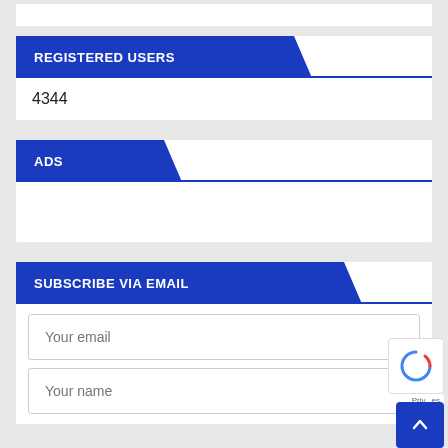REGISTERED USERS
4344
ADS
SUBSCRIBE VIA EMAIL
Your email
Your name